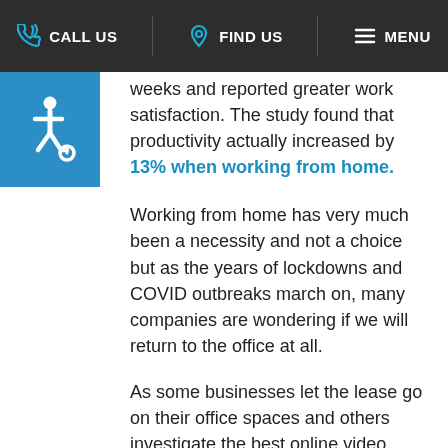CALL US  FIND US  MENU
[Figure (illustration): Wheelchair accessibility icon in white on blue square background]
weeks and reported greater work satisfaction. The study found that productivity actually increased by 13% when working from home.
Working from home has very much been a necessity and not a choice but as the years of lockdowns and COVID outbreaks march on, many companies are wondering if we will return to the office at all.
As some businesses let the lease go on their office spaces and others investigate the best online video conferencing software, this refreshing approach to